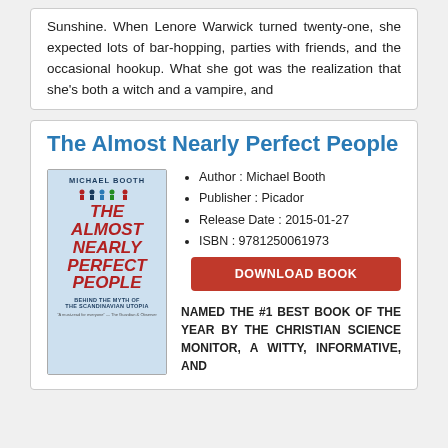Sunshine. When Lenore Warwick turned twenty-one, she expected lots of bar-hopping, parties with friends, and the occasional hookup. What she got was the realization that she's both a witch and a vampire, and
The Almost Nearly Perfect People
[Figure (illustration): Book cover of 'The Almost Nearly Perfect People' by Michael Booth, published by Picador. Red title text on light blue background with small illustrated figures.]
Author : Michael Booth
Publisher : Picador
Release Date : 2015-01-27
ISBN : 9781250061973
DOWNLOAD BOOK
NAMED THE #1 BEST BOOK OF THE YEAR BY THE CHRISTIAN SCIENCE MONITOR, A WITTY, INFORMATIVE, AND